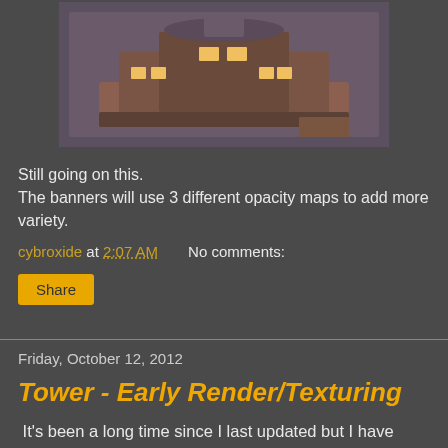[Figure (screenshot): 3D rendered game building with sci-fi/fantasy architecture, brownish-orange tones with glowing windows, viewed from slightly above at an angle]
Still going on this.
The banners will use 3 different opacity maps to add more variety.
cybroxide at 2:07 AM    No comments:
Share
Friday, October 12, 2012
Tower - Early Render/Texturing
It's been a long time since I last updated but I have been working on things!~
[Figure (screenshot): Partial view of a 3D rendered tower structure with similar sci-fi/fantasy architecture styling]